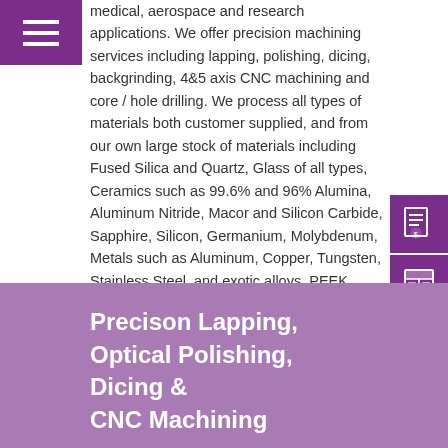medical, aerospace and research applications. We offer precision machining services including lapping, polishing, dicing, backgrinding, 4&5 axis CNC machining and core / hole drilling. We process all types of materials both customer supplied, and from our own large stock of materials including Fused Silica and Quartz, Glass of all types, Ceramics such as 99.6% and 96% Alumina, Aluminum Nitride, Macor and Silicon Carbide, Sapphire, Silicon, Germanium, Molybdenum, Metals such as Aluminum, Copper, Tungsten, Stainless Steel, and exotic alloys, PEEK, Polyimides and many more. We have 1,000's of finished wafers and substrates available from stock for immediate shipment.
Precison Lapping, Optical Polishing, Dicing & CNC Machining